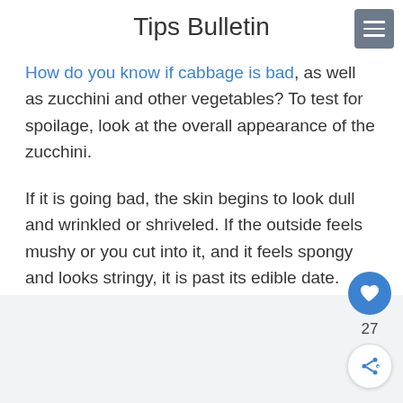Tips Bulletin
How do you know if cabbage is bad, as well as zucchini and other vegetables? To test for spoilage, look at the overall appearance of the zucchini.
If it is going bad, the skin begins to look dull and wrinkled or shriveled. If the outside feels mushy or you cut into it, and it feels spongy and looks stringy, it is past its edible date.